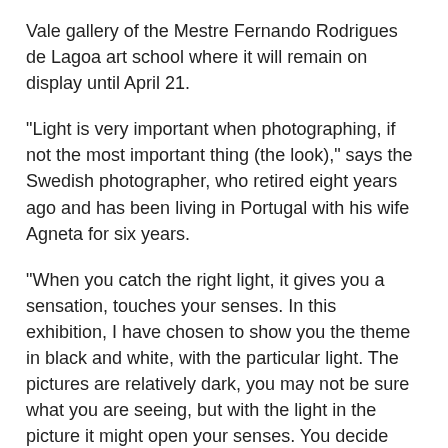Vale gallery of the Mestre Fernando Rodrigues de Lagoa art school where it will remain on display until April 21.
“Light is very important when photographing, if not the most important thing (the look),” says the Swedish photographer, who retired eight years ago and has been living in Portugal with his wife Agneta for six years.
“When you catch the right light, it gives you a sensation, touches your senses. In this exhibition, I have chosen to show you the theme in black and white, with the particular light. The pictures are relatively dark, you may not be sure what you are seeing, but with the light in the picture it might open your senses. You decide what you see. It is the “light of the senses”, adds Torgardh.
The exhibition features everything from photos of Lisbon, London and birds, as well as the photographer's first foray into macro photography.